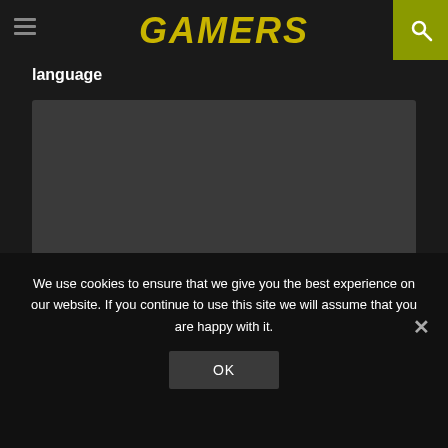GAMERS
language
[Figure (other): Dark grey rectangular content/video placeholder area]
We use cookies to ensure that we give you the best experience on our website. If you continue to use this site we will assume that you are happy with it.
OK